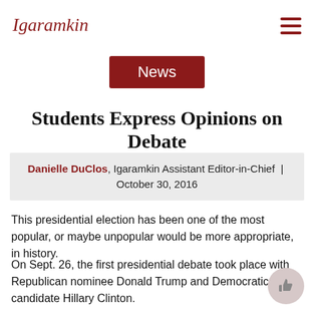Igaramkin
News
Students Express Opinions on Debate
Danielle DuClos, Igaramkin Assistant Editor-in-Chief | October 30, 2016
This presidential election has been one of the most popular, or maybe unpopular would be more appropriate, in history.
On Sept. 26, the first presidential debate took place with Republican nominee Donald Trump and Democratic candidate Hillary Clinton.
With a record-breaking 80 million viewers watching the first debate,